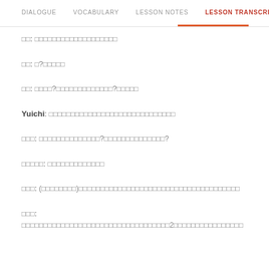DIALOGUE | VOCABULARY | LESSON NOTES | LESSON TRANSCRIPT | K
□□: □□□□□□□□□□□□□□□□□□□
□□: □?□□□□□
□□: □□□□?□□□□□□□□□□□□□□□?□□□□□
Yuichi: □□□□□□□□□□□□□□□□□□□□□□□□□□□□□
□□□: □□□□□□□□□□□□□□□?□□□□□□□□□□□□□□□?
□□□□□: □□□□□□□□□□□□□
□□□: (□□□□□□□□)□□□□□□□□□□□□□□□□□□□□□□□□□□□□□□□□□□□□□
□□□: □□□□□□□□□□□□□□□□□□□□□□□□□□□□□□□□□□2□□□□□□□□□□□□□□□□